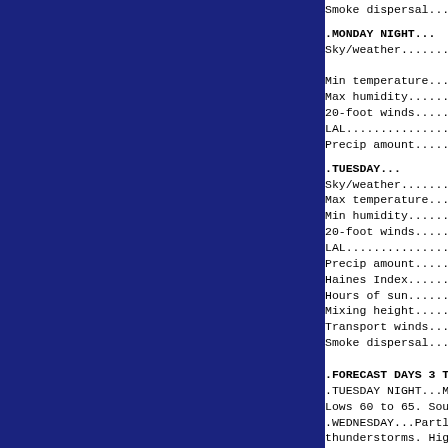Smoke dispersal.....Around 20000 or fair (A
.MONDAY NIGHT...
Sky/weather..........Mostly clear. Slight c
                     after 0100. Chance of
Min temperature.....56-61.
Max humidity.........92-97 percent.
20-foot winds........Southeast winds 5 to 6
LAL....................1.
Precip amount........Isolated .
.TUESDAY...
Sky/weather..........Mostly sunny.
Max temperature.....79-84.
Min humidity.........49-54 percent.
20-foot winds........Southeast winds 5 to 8
LAL....................1.
Precip amount........None.
Haines Index.........4 or low.
Hours of sun.........12 hours.
Mixing height........Around 5400 ft agl (Ave
Transport winds......East around 5 mph (Ave
Smoke dispersal.....Around 30000 or good (A
.FORECAST DAYS 3 THROUGH 7...
.TUESDAY NIGHT...Mostly clear. Slight chane
Lows 60 to 65. Southeast winds 5 to 6 mph.
.WEDNESDAY...Partly sunny. Slight chance o
thunderstorms. Highs 80 to 85. East winds
.WEDNESDAY NIGHT...Partly cloudy. Slight c
and thunderstorms. Lows 60 to 65. Northeas